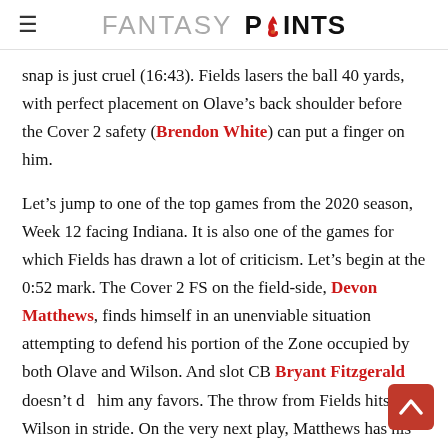FANTASY POINTS
snap is just cruel (16:43). Fields lasers the ball 40 yards, with perfect placement on Olave’s back shoulder before the Cover 2 safety (Brendon White) can put a finger on him.
Let’s jump to one of the top games from the 2020 season, Week 12 facing Indiana. It is also one of the games for which Fields has drawn a lot of criticism. Let’s begin at the 0:52 mark. The Cover 2 FS on the field-side, Devon Matthews, finds himself in an unenviable situation attempting to defend his portion of the Zone occupied by both Olave and Wilson. And slot CB Bryant Fitzgerald doesn’t do him any favors. The throw from Fields hits Wilson in stride. On the very next play, Matthews has his...